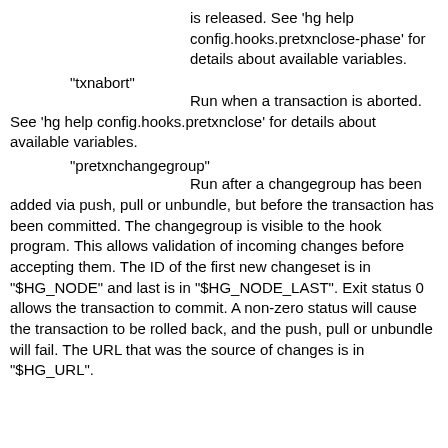is released. See 'hg help config.hooks.pretxnclose-phase' for details about available variables.
"txnabort"
    Run when a transaction is aborted. See 'hg help config.hooks.pretxnclose' for details about available variables.
"pretxnchangegroup"
    Run after a changegroup has been added via push, pull or unbundle, but before the transaction has been committed. The changegroup is visible to the hook program. This allows validation of incoming changes before accepting them. The ID of the first new changeset is in "$HG_NODE" and last is in "$HG_NODE_LAST". Exit status 0 allows the transaction to commit. A non-zero status will cause the transaction to be rolled back, and the push, pull or unbundle will fail. The URL that was the source of changes is in "$HG_URL".